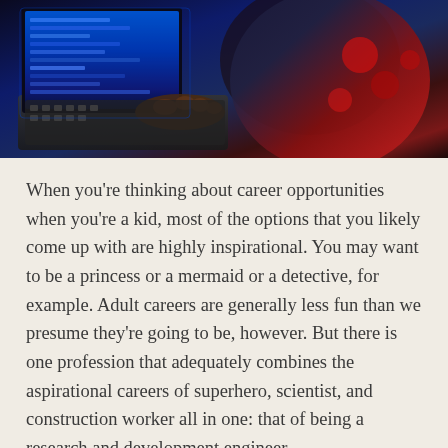[Figure (photo): A person typing on a laptop with a blue-lit screen showing code, viewed from above and to the side. The person is wearing a colorful patterned outfit.]
When you're thinking about career opportunities when you're a kid, most of the options that you likely come up with are highly inspirational. You may want to be a princess or a mermaid or a detective, for example. Adult careers are generally less fun than we presume they're going to be, however. But there is one profession that adequately combines the aspirational careers of superhero, scientist, and construction worker all in one: that of being a research and development engineer.
Why are engineers superheroes? Because engineers